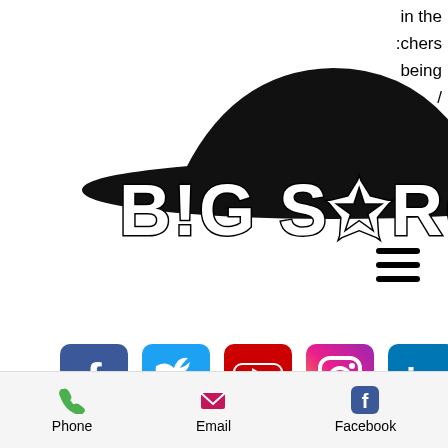[Figure (logo): Big Sarge logo with hat silhouette and stylized text 'BIG SARGE']
in the
:chers
being
/
15
/
[Figure (infographic): Hamburger menu icon (three horizontal lines)]
[Figure (infographic): Social media icons row: Facebook, Twitter, YouTube, Instagram, LinkedIn]
come in the final three months of the season.
He finished with batting averages of .291(July), .333 (August), and in September, he repeated the .333 batting average but added a 1.087 OPS to the mix. His hard work and
Phone   Email   Facebook